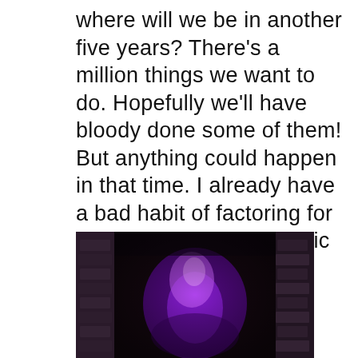where will we be in another five years? There’s a million things we want to do. Hopefully we’ll have bloody done some of them! But anything could happen in that time. I already have a bad habit of factoring for the unexpected and tragic – I plan to knock that on the head. As it stands, we’re both just looking forwards in anticipation. See, here’s me, looking forwards.
[Figure (photo): A dark photo with purple/violet lighting showing a blurred, abstract scene that appears to be a person or figure lit with purple light against a dark background with brick-like texture visible on the sides.]